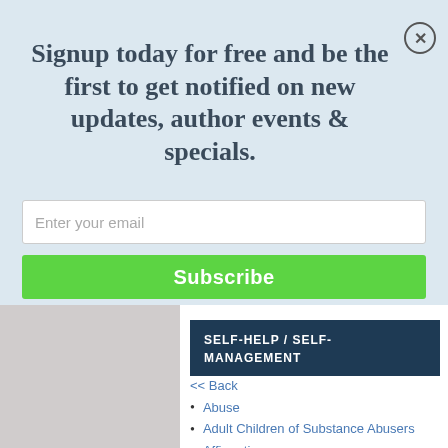Signup today for free and be the first to get notified on new updates, author events & specials.
Enter your email
Subscribe
SELF-HELP / SELF-MANAGEMENT
<< Back
Abuse
Adult Children of Substance Abusers
Affirmations
Aging
Anxieties & Phobias
Codependency
Communication & Social Skills